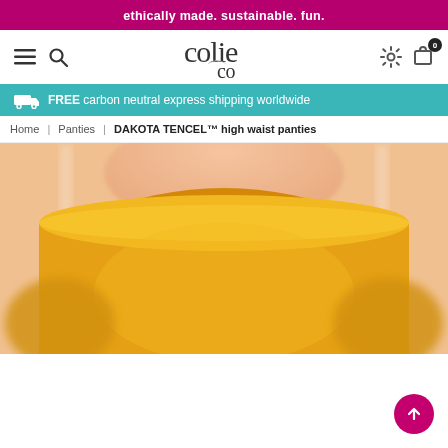ethically made. sustainable. fun.
[Figure (logo): Colie Co logo in stylized serif font]
FREE carbon neutral express shipping worldwide
Home | Panties | DAKOTA TENCEL™ high waist panties
[Figure (photo): Close-up photo of person wearing golden yellow high-waist panties]